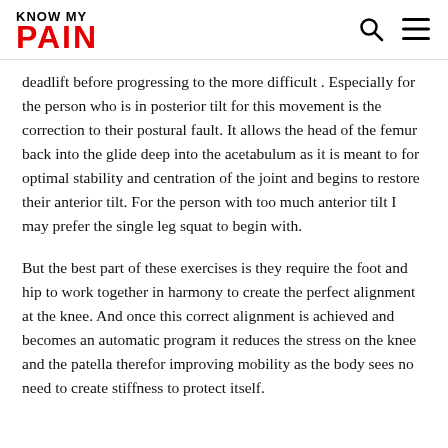KNOW MY PAIN
deadlift before progressing to the more difficult . Especially for the person who is in posterior tilt for this movement is the correction to their postural fault. It allows the head of the femur back into the glide deep into the acetabulum as it is meant to for optimal stability and centration of the joint and begins to restore their anterior tilt. For the person with too much anterior tilt I may prefer the single leg squat to begin with.
But the best part of these exercises is they require the foot and hip to work together in harmony to create the perfect alignment at the knee. And once this correct alignment is achieved and becomes an automatic program it reduces the stress on the knee and the patella therefor improving mobility as the body sees no need to create stiffness to protect itself.